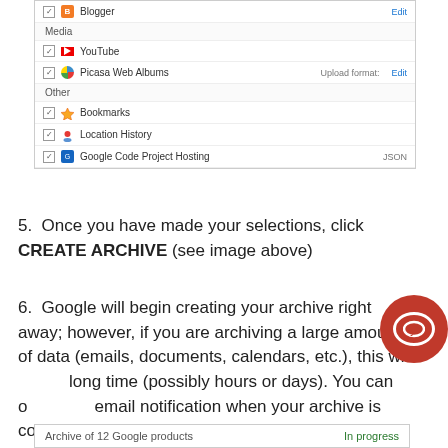[Figure (screenshot): Google Takeout settings screenshot showing checkboxes for Media (YouTube, Picasa Web Albums with Upload format: Edit) and Other (Bookmarks, Location History, Google Code Project Hosting with JSON)]
Once you have made your selections, click CREATE ARCHIVE (see image above)
Google will begin creating your archive right away; however, if you are archiving a large amount of data (emails, documents, calendars, etc.), this will long time (possibly hours or days). You can o email notification when your archive is complete
[Figure (screenshot): Archive of 12 Google products - In progress]